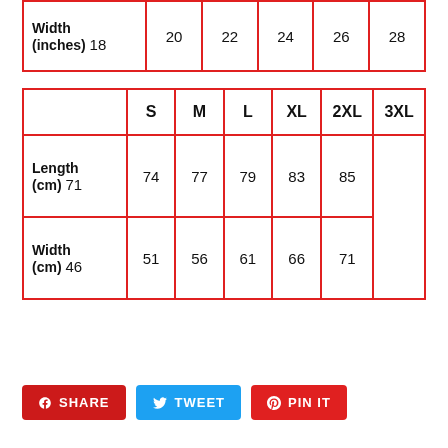|  | S | M | L | XL | 2XL | 3XL |
| --- | --- | --- | --- | --- | --- | --- |
| Width (inches) | 18 | 20 | 22 | 24 | 26 | 28 |
|  | S | M | L | XL | 2XL | 3XL |
| --- | --- | --- | --- | --- | --- | --- |
| Length (cm) | 71 | 74 | 77 | 79 | 83 | 85 |
| Width (cm) | 46 | 51 | 56 | 61 | 66 | 71 |
SHARE   TWEET   PIN IT